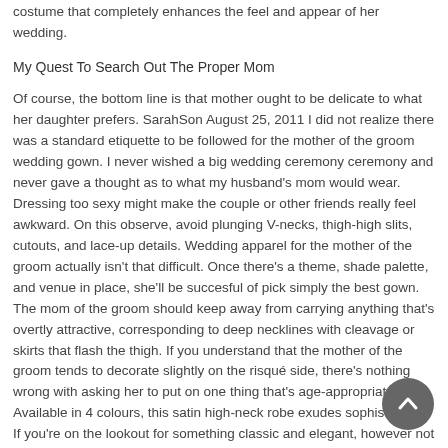costume that completely enhances the feel and appear of her wedding.
My Quest To Search Out The Proper Mom
Of course, the bottom line is that mother ought to be delicate to what her daughter prefers. SarahSon August 25, 2011 I did not realize there was a standard etiquette to be followed for the mother of the groom wedding gown. I never wished a big wedding ceremony ceremony and never gave a thought as to what my husband's mom would wear. Dressing too sexy might make the couple or other friends really feel awkward. On this observe, avoid plunging V-necks, thigh-high slits, cutouts, and lace-up details. Wedding apparel for the mother of the groom actually isn't that difficult. Once there's a theme, shade palette, and venue in place, she'll be succesful of pick simply the best gown. The mom of the groom should keep away from carrying anything that's overtly attractive, corresponding to deep necklines with cleavage or skirts that flash the thigh. If you understand that the mother of the groom tends to decorate slightly on the risqué side, there's nothing wrong with asking her to put on one thing that's age-appropriate. Available in 4 colours, this satin high-neck robe exudes sophistication. If you're on the lookout for something classic and elegant, however not tremendous